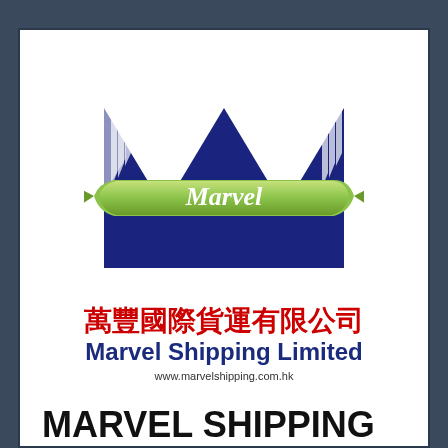[Figure (logo): Marvel Shipping Limited company logo — large dark navy letter M with white vertical stripes on top portions, overlaid with a green ribbon banner reading 'Marvel' in white italic text]
萬豐國際貨運有限公司
Marvel Shipping Limited
www.marvelshipping.com.hk
MARVEL SHIPPING LIMITED 萬豐國際貨運有限公司